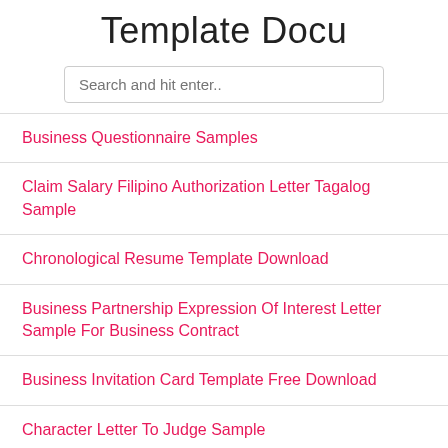Template Docu
Search and hit enter..
Business Questionnaire Samples
Claim Salary Filipino Authorization Letter Tagalog Sample
Chronological Resume Template Download
Business Partnership Expression Of Interest Letter Sample For Business Contract
Business Invitation Card Template Free Download
Character Letter To Judge Sample
Church Easter Program Template
Business Template Project Proposal Sample
Calendar Template Printable April 2020 Monthly Calendar